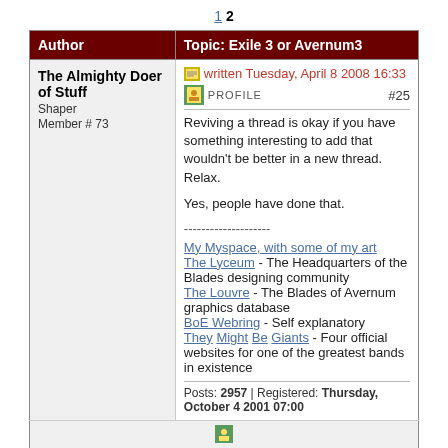1  2
| Author | Topic: Exile 3 or Avernum3 |
| --- | --- |
| The Almighty Doer of Stuff
Shaper
Member # 73 | written Tuesday, April 8 2008 16:33  PROFILE  #25
Reviving a thread is okay if you have something interesting to add that wouldn't be better in a new thread. Relax.

Yes, people have done that.

--------------------
My Myspace, with some of my art
The Lyceum - The Headquarters of the Blades designing community
The Louvre - The Blades of Avernum graphics database
BoE Webring - Self explanatory
They Might Be Giants - Four official websites for one of the greatest bands in existence

Posts: 2957 | Registered: Thursday, October 4 2001 07:00 |